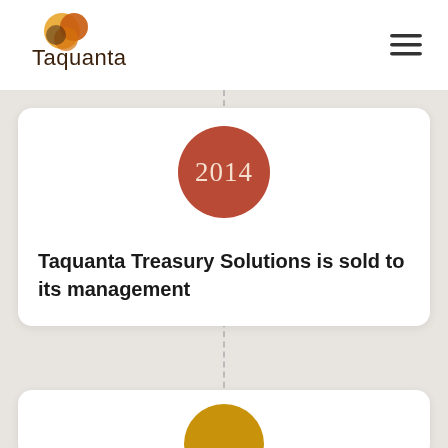[Figure (logo): Taquanta company logo — abstract orange/yellow/dark swirl shape above the text 'Taquanta' in dark brown]
[Figure (other): Hamburger menu icon — three horizontal dark lines]
[Figure (infographic): Timeline card with dark red circle containing '2014' in serif font]
Taquanta Treasury Solutions is sold to its management
[Figure (infographic): Partial timeline card with gold/yellow circle at top, partially visible at bottom of page]